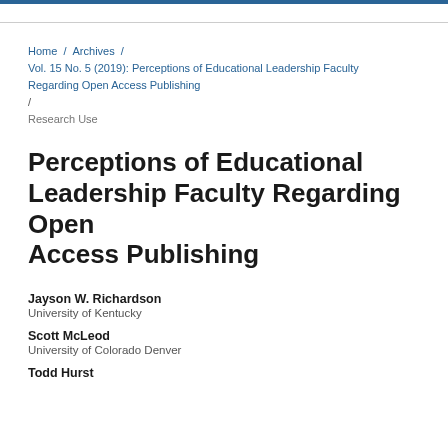Home / Archives / Vol. 15 No. 5 (2019): Perceptions of Educational Leadership Faculty Regarding Open Access Publishing / Research Use
Perceptions of Educational Leadership Faculty Regarding Open Access Publishing
Jayson W. Richardson
University of Kentucky
Scott McLeod
University of Colorado Denver
Todd Hurst